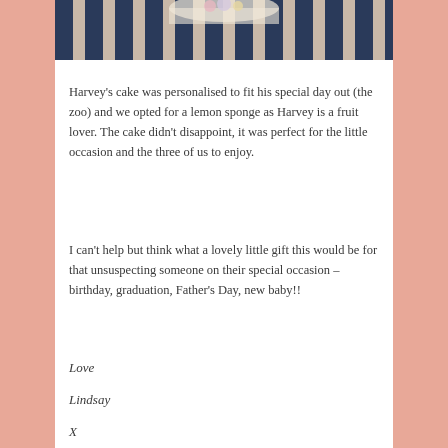[Figure (photo): Partial bottom view of a birthday cake or decorated item against a striped navy and white background]
Harvey's cake was personalised to fit his special day out (the zoo) and we opted for a lemon sponge as Harvey is a fruit lover. The cake didn't disappoint, it was perfect for the little occasion and the three of us to enjoy.
I can't help but think what a lovely little gift this would be for that unsuspecting someone on their special occasion – birthday, graduation, Father's Day, new baby!!
Love
Lindsay
X